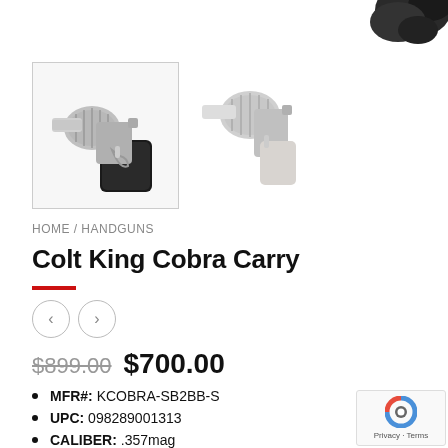[Figure (photo): Partial view of a silver/black revolver handgun, top-right corner of page]
[Figure (photo): Thumbnail image 1: Silver and black Colt King Cobra Carry revolver, front-left angle, with black grip, inside a bordered box]
[Figure (photo): Thumbnail image 2: Silver Colt King Cobra Carry revolver, side angle, no border]
HOME / HANDGUNS
Colt King Cobra Carry
$899.00  $700.00
MFR#: KCOBRA-SB2BB-S
UPC: 098289001313
CALIBER: .357mag